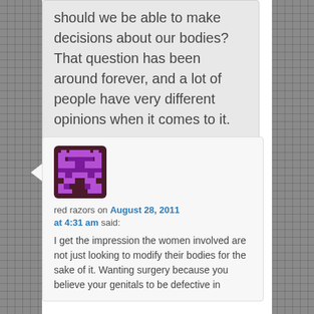should we be able to make decisions about our bodies? That question has been around forever, and a lot of people have very different opinions when it comes to it.
[Figure (illustration): Pixel art avatar icon — purple character on dark maroon background]
red razors on August 28, 2011 at 4:31 am said:
I get the impression the women involved are not just looking to modify their bodies for the sake of it. Wanting surgery because you believe your genitals to be defective in